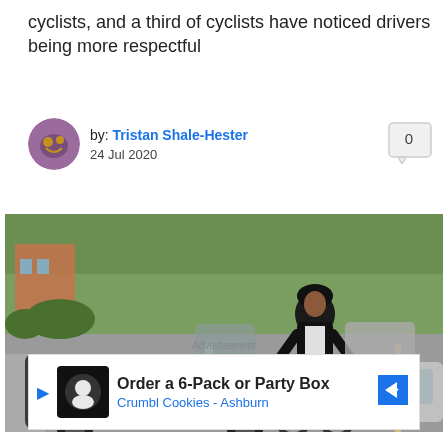cyclists, and a third of cyclists have noticed drivers being more respectful
by: Tristan Shale-Hester
24 Jul 2020
[Figure (photo): A cyclist riding on a road alongside cars, wearing a black helmet and casual clothing, with trees and buildings in the background.]
Advertisement
Order a 6-Pack or Party Box
Crumbl Cookies - Ashburn